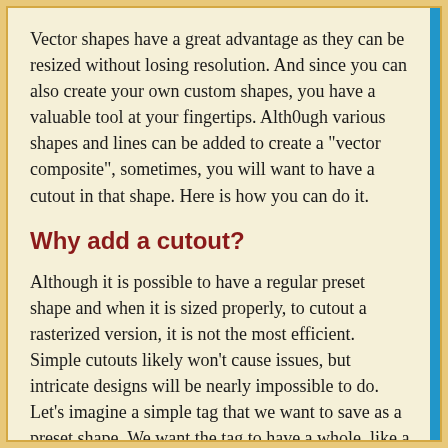Vector shapes have a great advantage as they can be resized without losing resolution. And since you can also create your own custom shapes, you have a valuable tool at your fingertips. Alth0ugh various shapes and lines can be added to create a "vector composite", sometimes, you will want to have a cutout in that shape. Here is how you can do it.
Why add a cutout?
Although it is possible to have a regular preset shape and when it is sized properly, to cutout a rasterized version, it is not the most efficient. Simple cutouts likely won't cause issues, but intricate designs will be nearly impossible to do. Let's imagine a simple tag that we want to save as a preset shape. We want the tag to have a whole, like a price tag or something like this.